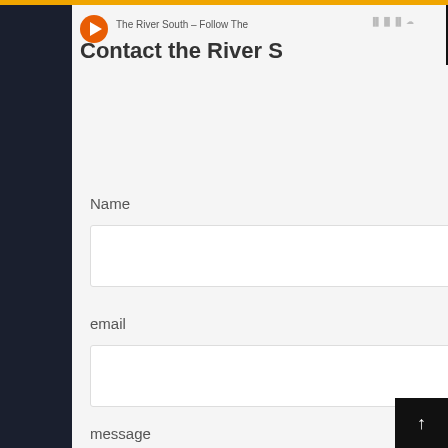The River South – Follow The
Contact the River South
Name
email
message